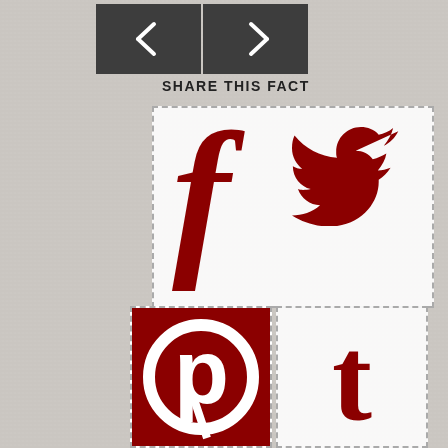[Figure (infographic): Share This Fact UI component with navigation arrows, Facebook, Twitter, Pinterest, and Tumblr social media icons in dark red on white/light backgrounds, repeated twice on a textured gray background]
SHARE THIS FACT
SHARE THIS FACT